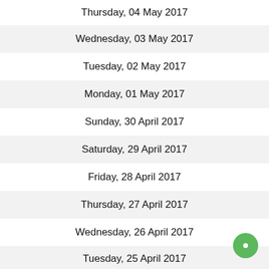Thursday, 04 May 2017
Wednesday, 03 May 2017
Tuesday, 02 May 2017
Monday, 01 May 2017
Sunday, 30 April 2017
Saturday, 29 April 2017
Friday, 28 April 2017
Thursday, 27 April 2017
Wednesday, 26 April 2017
Tuesday, 25 April 2017